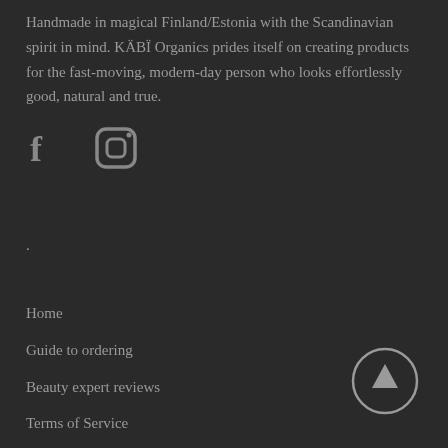Handmade in magical Finland/Estonia with the Scandinavian spirit in mind. KÄBÏ Organics prides itself on creating products for the fast-moving, modern-day person who looks effortlessly good, natural and true.
[Figure (illustration): Social media icons: Facebook (f) and Instagram (camera) icons in grey on dark background]
.
Home
Guide to ordering
Beauty expert reviews
Terms of Service
[Figure (illustration): Circle button with upward arrow icon for scrolling to top]